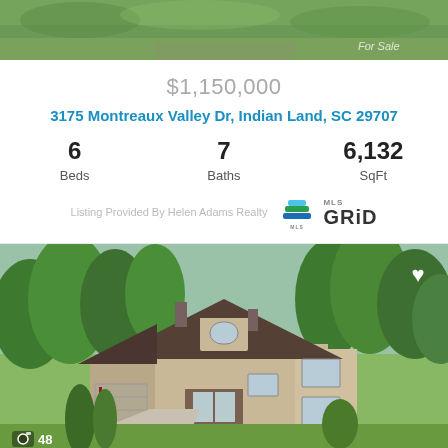[Figure (photo): Aerial view of green lawn/yard with trees, top portion of listing card. 'For Sale' watermark visible in corner.]
$1,150,000
3175 Montreaux Valley Dr, Indian Land, SC 29707
6 Beds  7 Baths  6,132 SqFt
Listing Provided By Helen Adams Realty
[Figure (photo): Exterior photo of large two-story brick and stone home with dark shingle roof, arched dormer window, multiple windows, driveway, lush green trees and landscaping surrounding it. Camera icon and '48' appear in bottom left corner. Heart icon in top right corner.]